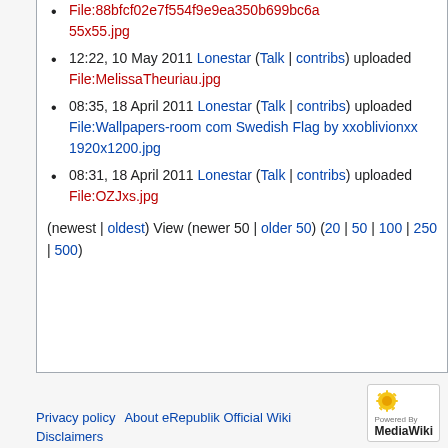File:88bfcf02e7f554f9e9ea350b699bc6a...55x55.jpg (truncated, red link)
12:22, 10 May 2011 Lonestar (Talk | contribs) uploaded File:MelissaTheuriau.jpg
08:35, 18 April 2011 Lonestar (Talk | contribs) uploaded File:Wallpapers-room com Swedish Flag by xxoblivionxx 1920x1200.jpg
08:31, 18 April 2011 Lonestar (Talk | contribs) uploaded File:OZJxs.jpg
(newest | oldest) View (newer 50 | older 50) (20 | 50 | 100 | 250 | 500)
Privacy policy  About eRepublik Official Wiki  Disclaimers
[Figure (logo): Powered by MediaWiki badge with sunflower logo]